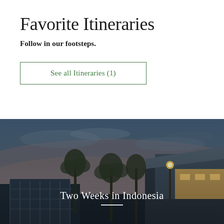Favorite Itineraries
Follow in our footsteps.
See all Itineraries (1)
[Figure (photo): Twilight photograph of a luxury resort in Indonesia with palm trees, modern architecture, and a dramatic dusk sky with blue and pink hues. Text overlay reads 'Two Weeks in Indonesia' with a decorative horizontal line beneath.]